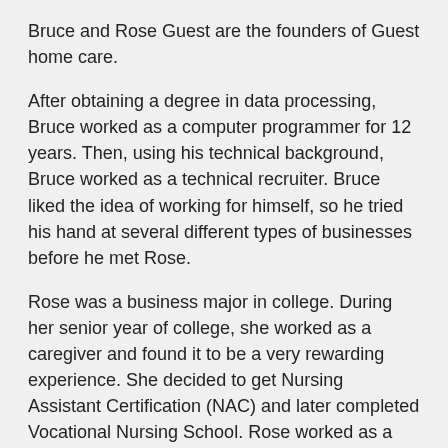Bruce and Rose Guest are the founders of Guest home care.
After obtaining a degree in data processing, Bruce worked as a computer programmer for 12 years. Then, using his technical background, Bruce worked as a technical recruiter. Bruce liked the idea of working for himself, so he tried his hand at several different types of businesses before he met Rose.
Rose was a business major in college. During her senior year of college, she worked as a caregiver and found it to be a very rewarding experience. She decided to get Nursing Assistant Certification (NAC) and later completed Vocational Nursing School. Rose worked as a caregiver for over 12 years and was very well liked by all of her clients and employers.
Over the years, Bruce and Rose both developed a deep passion for helping other people. When they eventually met and got married, they decided to invest their time and energy into a business that involved caring for and